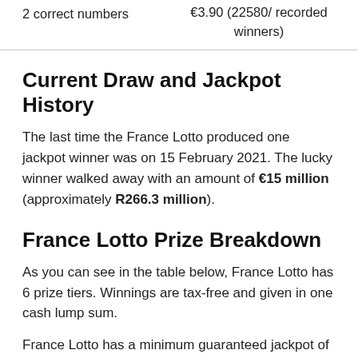|  |  |
| --- | --- |
| 2 correct numbers | €3.90 (22580/ recorded winners) |
Current Draw and Jackpot History
The last time the France Lotto produced one jackpot winner was on 15 February 2021. The lucky winner walked away with an amount of €15 million (approximately R266.3 million).
France Lotto Prize Breakdown
As you can see in the table below, France Lotto has 6 prize tiers. Winnings are tax-free and given in one cash lump sum.
France Lotto has a minimum guaranteed jackpot of 1